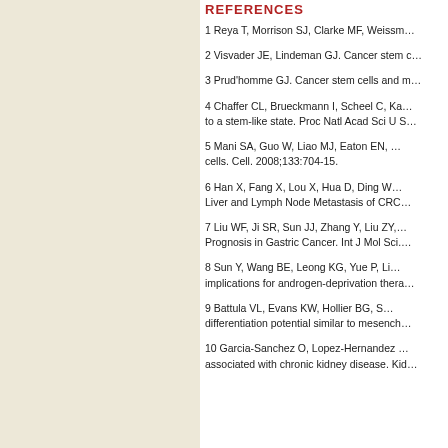REFERENCES
1 Reya T, Morrison SJ, Clarke MF, Weissm…
2 Visvader JE, Lindeman GJ. Cancer stem c…
3 Prud'homme GJ. Cancer stem cells and m…
4 Chaffer CL, Brueckmann I, Scheel C, Ka… to a stem-like state. Proc Natl Acad Sci U S…
5 Mani SA, Guo W, Liao MJ, Eaton EN, … cells. Cell. 2008;133:704-15.
6 Han X, Fang X, Lou X, Hua D, Ding W… Liver and Lymph Node Metastasis of CRC…
7 Liu WF, Ji SR, Sun JJ, Zhang Y, Liu ZY,… Prognosis in Gastric Cancer. Int J Mol Sci.…
8 Sun Y, Wang BE, Leong KG, Yue P, Li… implications for androgen-deprivation thera…
9 Battula VL, Evans KW, Hollier BG, S… differentiation potential similar to mesench…
10 Garcia-Sanchez O, Lopez-Hernandez … associated with chronic kidney disease. Kid…